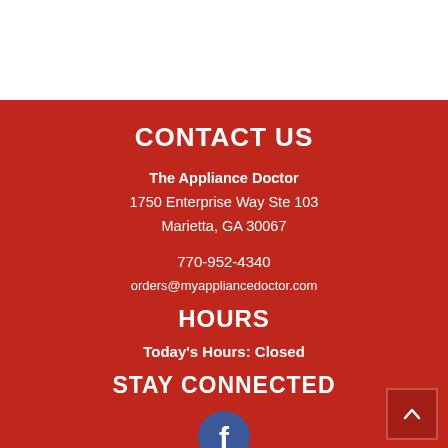CONTACT US
The Appliance Doctor
1750 Enterprise Way Ste 103
Marietta, GA 30067
770-952-4340
orders@myappliancedoctor.com
HOURS
Today's Hours: Closed
STAY CONNECTED
[Figure (logo): Facebook logo icon — circular blue background with white 'f' lettermark]